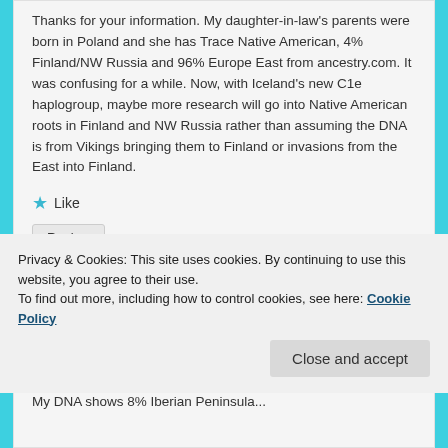Thanks for your information. My daughter-in-law's parents were born in Poland and she has Trace Native American, 4% Finland/NW Russia and 96% Europe East from ancestry.com. It was confusing for a while. Now, with Iceland's new C1e haplogroup, maybe more research will go into Native American roots in Finland and NW Russia rather than assuming the DNA is from Vikings bringing them to Finland or invasions from the East into Finland.
Like
Reply ↓
Privacy & Cookies: This site uses cookies. By continuing to use this website, you agree to their use.
To find out more, including how to control cookies, see here: Cookie Policy
Close and accept
My DNA shows 8% Iberian Peninsula...